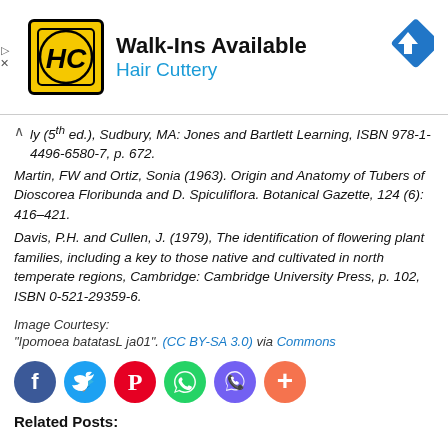[Figure (infographic): Advertisement banner for Hair Cuttery salon. Shows HC logo on yellow background, text 'Walk-Ins Available' and 'Hair Cuttery' in blue, with a blue navigation diamond icon on the right.]
ly (5th ed.), Sudbury, MA: Jones and Bartlett Learning, ISBN 978-1-4496-6580-7, p. 672.
Martin, FW and Ortiz, Sonia (1963). Origin and Anatomy of Tubers of Dioscorea Floribunda and D. Spiculiflora. Botanical Gazette, 124 (6): 416–421.
Davis, P.H. and Cullen, J. (1979), The identification of flowering plant families, including a key to those native and cultivated in north temperate regions, Cambridge: Cambridge University Press, p. 102, ISBN 0-521-29359-6.
Image Courtesy:
"Ipomoea batatasL ja01". (CC BY-SA 3.0) via Commons
[Figure (infographic): Row of social media sharing icons: Facebook (blue), Twitter (cyan/blue), Pinterest (red), WhatsApp (green), Viber (purple), More/Plus (orange-red).]
Related Posts: